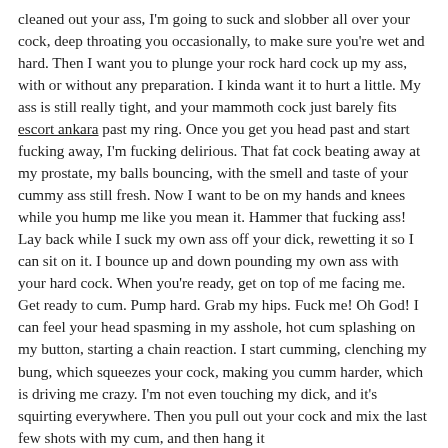cleaned out your ass, I'm going to suck and slobber all over your cock, deep throating you occasionally, to make sure you're wet and hard. Then I want you to plunge your rock hard cock up my ass, with or without any preparation. I kinda want it to hurt a little. My ass is still really tight, and your mammoth cock just barely fits escort ankara past my ring. Once you get you head past and start fucking away, I'm fucking delirious. That fat cock beating away at my prostate, my balls bouncing, with the smell and taste of your cummy ass still fresh. Now I want to be on my hands and knees while you hump me like you mean it. Hammer that fucking ass! Lay back while I suck my own ass off your dick, rewetting it so I can sit on it. I bounce up and down pounding my own ass with your hard cock. When you're ready, get on top of me facing me. Get ready to cum. Pump hard. Grab my hips. Fuck me! Oh God! I can feel your head spasming in my asshole, hot cum splashing on my button, starting a chain reaction. I start cumming, clenching my bung, which squeezes your cock, making you cumm harder, which is driving me crazy. I'm not even touching my dick, and it's squirting everywhere. Then you pull out your cock and mix the last few shots with my cum, and then hang it